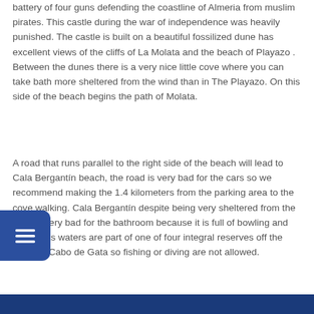battery of four guns defending the coastline of Almeria from muslim pirates. This castle during the war of independence was heavily punished. The castle is built on a beautiful fossilized dune has excellent views of the cliffs of La Molata and the beach of Playazo . Between the dunes there is a very nice little cove where you can take bath more sheltered from the wind than in The Playazo. On this side of the beach begins the path of Molata.
A road that runs parallel to the right side of the beach will lead to Cala Bergantín beach, the road is very bad for the cars so we recommend making the 1.4 kilometers from the parking area to the cove walking. Cala Bergantín despite being very sheltered from the wind is very bad for the bathroom because it is full of bowling and stones, its waters are part of one of four integral reserves off the coast of Cabo de Gata so fishing or diving are not allowed.